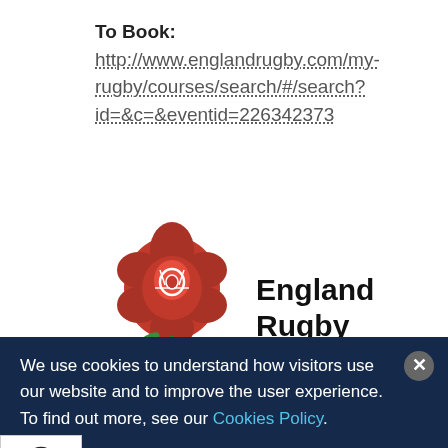To Book: http://www.englandrugby.com/my-rugby/courses/search/#/search?id=&c=&eventid=226342373
[Figure (logo): England Rugby logo — a red rose with green leaves and stem, with 'England Rugby' text in bold black to the right]
Leave a Comment / rugby, Rugby Ready
We use cookies to understand how visitors use our website and to improve the user experience. To find out more, see our Cookies Policy.